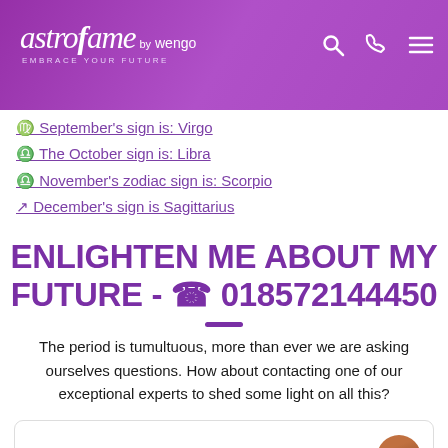astrofame by wengo — EMBRACE YOUR FUTURE
♍ September's sign is: Virgo
♎ The October sign is: Libra
♎ November's zodiac sign is: Scorpio
↗ December's sign is Sagittarius
ENLIGHTEN ME ABOUT MY FUTURE - ✆ 018572144450
The period is tumultuous, more than ever we are asking ourselves questions. How about contacting one of our exceptional experts to shed some light on all this?
5 months ago - givenlifeago consulted